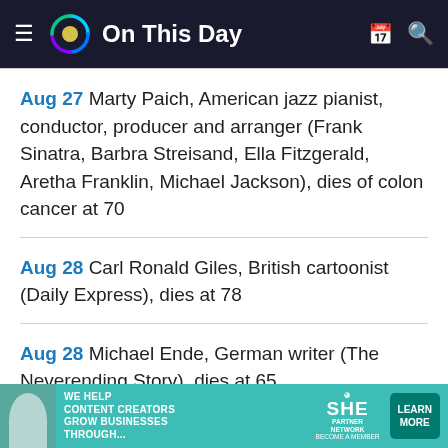On This Day
Aug 27 Marty Paich, American jazz pianist, conductor, producer and arranger (Frank Sinatra, Barbra Streisand, Ella Fitzgerald, Aretha Franklin, Michael Jackson), dies of colon cancer at 70
Aug 28 Carl Ronald Giles, British cartoonist (Daily Express), dies at 78
Aug 28 Michael Ende, German writer (The Neverending Story), dies at 65
Aug 28 Michael VerMeulen, American journalist and ...
[Figure (infographic): SHE Media Partner Network advertisement banner: 'We help content creators grow businesses through...' with Learn More button]